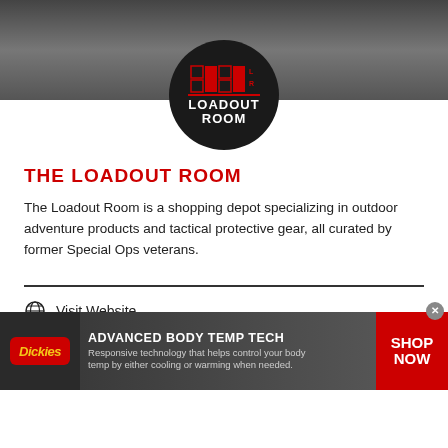[Figure (photo): Dark tactical/military background image banner at top of page]
[Figure (logo): The Loadout Room circular black logo with red accent and white text reading LOADOUT ROOM]
THE LOADOUT ROOM
The Loadout Room is a shopping depot specializing in outdoor adventure products and tactical protective gear, all curated by former Special Ops veterans.
Visit Website
[Figure (infographic): Social media icons row: Facebook, Twitter, YouTube, Instagram — all red circles with white icons]
[Figure (infographic): Dickies advertisement banner: ADVANCED BODY TEMP TECH - Responsive technology that helps control your body temp by either cooling or warming when needed. SHOP NOW]